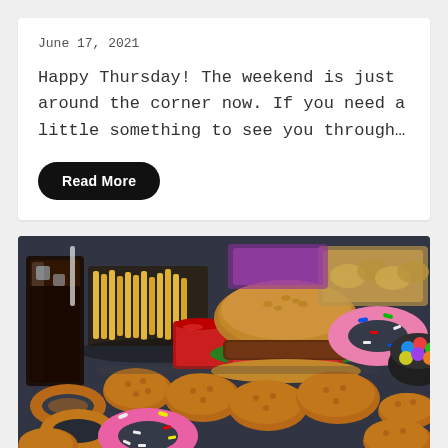June 17, 2021
Happy Thursday! The weekend is just around the corner now. If you need a little something to see you through…
Read More
[Figure (photo): A spread of various fast food items including a burger, french fries, fried chicken, onion rings, donuts, candy, chips, ketchup, and a glass of cola soda on a dark surface.]